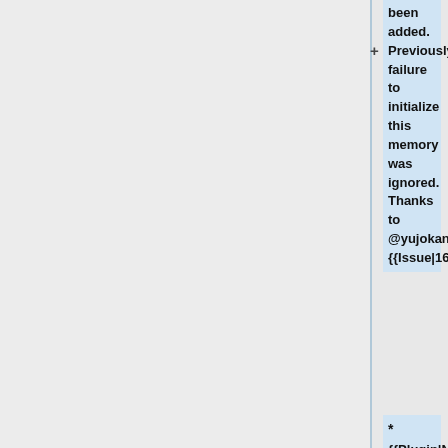been added. Previously, failure to initialize this memory was ignored. Thanks to @yujokang. {{Issue|1665}}
* {{Plugin|Network}}: A heap overflow has been fixed in the server code. This issue can be triggered remotely and is potentially exploitable. Thanks to "Emilien Gaspar". CVE-